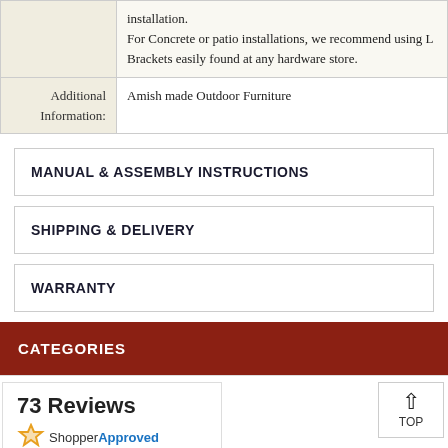|  | installation.
For Concrete or patio installations, we recommend using L Brackets easily found at any hardware store. |
| Additional Information: | Amish made Outdoor Furniture |
MANUAL & ASSEMBLY INSTRUCTIONS
SHIPPING & DELIVERY
WARRANTY
CATEGORIES
73 Reviews
[Figure (logo): ShopperApproved logo with orange star]
TOP